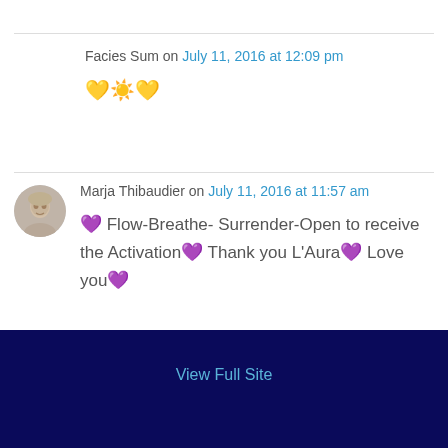Facies Sum on July 11, 2016 at 12:09 pm
💛☀️💛
Marja Thibaudier on July 11, 2016 at 11:57 am
💜 Flow-Breathe- Surrender-Open to receive the Activation💜 Thank you L'Aura💜 Love you💜
View Full Site